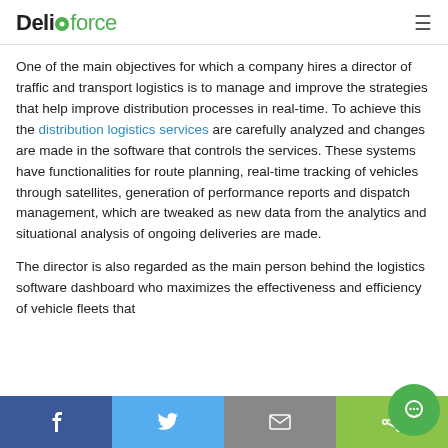Deliforce
One of the main objectives for which a company hires a director of traffic and transport logistics is to manage and improve the strategies that help improve distribution processes in real-time. To achieve this the distribution logistics services are carefully analyzed and changes are made in the software that controls the services. These systems have functionalities for route planning, real-time tracking of vehicles through satellites, generation of performance reports and dispatch management, which are tweaked as new data from the analytics and situational analysis of ongoing deliveries are made.
The director is also regarded as the main person behind the logistics software dashboard who maximizes the effectiveness and efficiency of vehicle fleets that